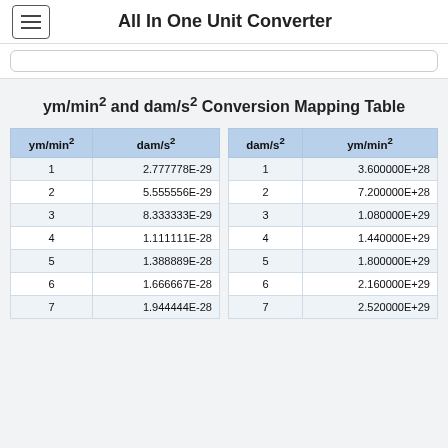All In One Unit Converter
ym/min² and dam/s² Conversion Mapping Table
| ym/min² | dam/s² | dam/s² | ym/min² |
| --- | --- | --- | --- |
| 1 | 2.777778E-29 | 1 | 3.600000E+28 |
| 2 | 5.555556E-29 | 2 | 7.200000E+28 |
| 3 | 8.333333E-29 | 3 | 1.080000E+29 |
| 4 | 1.111111E-28 | 4 | 1.440000E+29 |
| 5 | 1.388889E-28 | 5 | 1.800000E+29 |
| 6 | 1.666667E-28 | 6 | 2.160000E+29 |
| 7 | 1.944444E-28 | 7 | 2.520000E+29 |